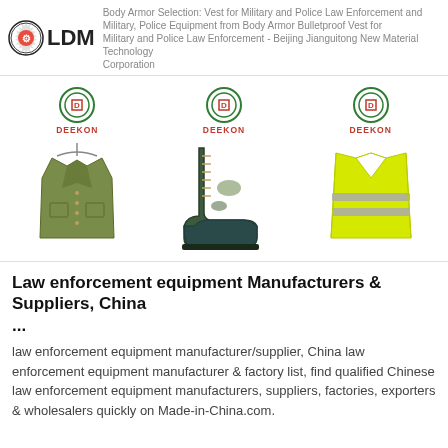Body Armor Selection: Vest for Military and Police Law Enforcement and Military, Police Equipment from Body Armor Bulletproof Vest for Military and Police Law Enforcement - Beijing Jianguitong New Material Technology Corporation
[Figure (logo): LDM logo with gear icon]
[Figure (photo): Three product photos with DEEKON branding: military jacket, combat boot, high-visibility vest]
Law enforcement equipment Manufacturers & Suppliers, China ...
law enforcement equipment manufacturer/supplier, China law enforcement equipment manufacturer & factory list, find qualified Chinese law enforcement equipment manufacturers, suppliers, factories, exporters & wholesalers quickly on Made-in-China.com.